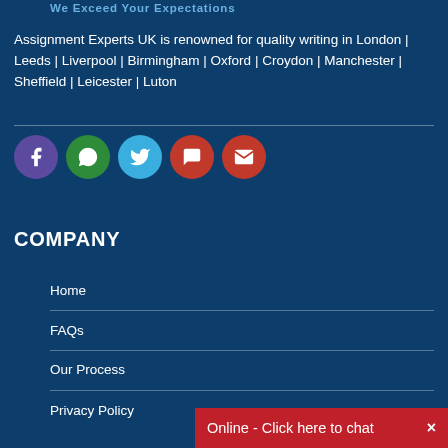We Exceed Your Expectations
Assignment Experts UK is renowned for quality writing in London | Leeds | Liverpool | Birmingham | Oxford | Croydon | Manchester | Sheffield | Leicester | Luton
[Figure (infographic): Row of 5 social media/contact icon circles: Facebook (purple), WhatsApp (green), Twitter (light blue), Chat (red), Email (red)]
COMPANY
Home
FAQs
Our Process
Privacy Policy
Online - Click here to chat